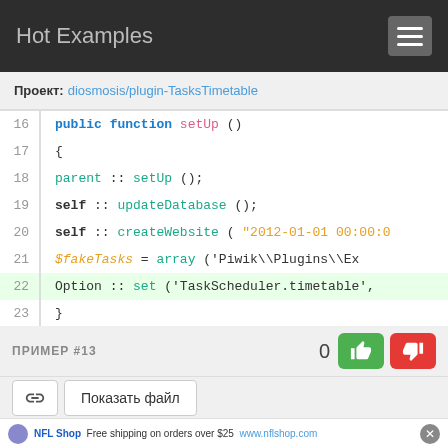Hot Examples
Проект: diosmosis/plugin-TasksTimetable
[Figure (screenshot): PHP code block showing lines 16-23 of a setUp() function including parent::setUp(), self::updateDatabase(), self::createWebsite(), $fakeTasks = array(), and Option::set() calls. Line 22 is highlighted in green.]
ПРИМЕР #13  0
Показать файл